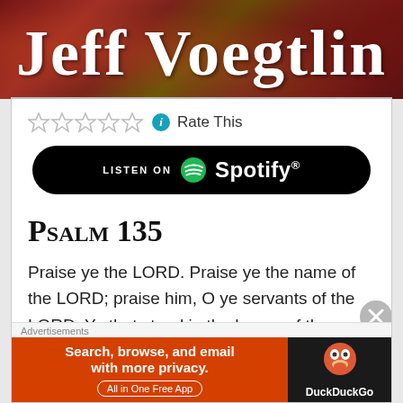[Figure (illustration): Red/brown marbled texture header banner with white serif text 'Jeff Voegtlin']
☆☆☆☆☆ ℹ Rate This
[Figure (logo): Listen on Spotify button - black rounded rectangle with Spotify logo and text]
Psalm 135
Praise ye the LORD. Praise ye the name of the LORD; praise him, O ye servants of the LORD. Ye that stand in the house of the LORD, in the courts of the house of our God, praise the LORD; for the LORD is good: sing praises
[Figure (screenshot): Advertisement: DuckDuckGo - Search, browse, and email with more privacy. All in One Free App]